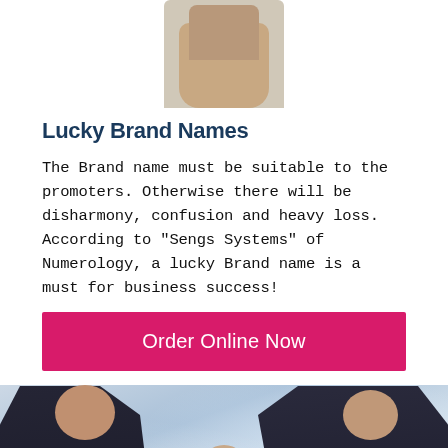[Figure (photo): Cropped image of a raised fist at the top of the page]
Lucky Brand Names
The Brand name must be suitable to the promoters. Otherwise there will be disharmony, confusion and heavy loss. According to “Sengs Systems” of Numerology, a lucky Brand name is a must for business success!
Order Online Now
[Figure (photo): Business professionals shaking hands, with a woman standing in the background smiling. Two men in dark suits are shaking hands in the foreground.]